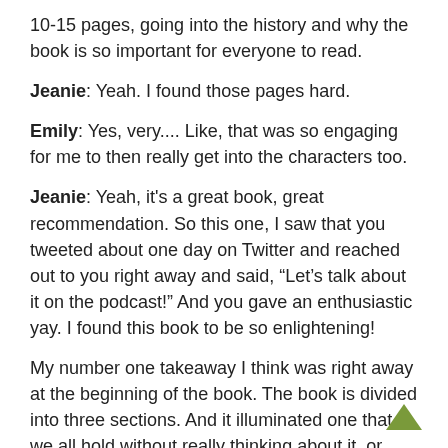10-15 pages, going into the history and why the book is so important for everyone to read.
Jeanie: Yeah. I found those pages hard.
Emily: Yes, very.... Like, that was so engaging for me to then really get into the characters too.
Jeanie: Yeah, it’s a great book, great recommendation. So this one, I saw that you tweeted about one day on Twitter and reached out to you right away and said, “Let’s talk about it on the podcast!” And you gave an enthusiastic yay. I found this book to be so enlightening!
My number one takeaway I think was right away at the beginning of the book. The book is divided into three sections. And it illuminated one that we all hold without really thinking about it, or why we hold it. That is what Pumzile’s research really that...